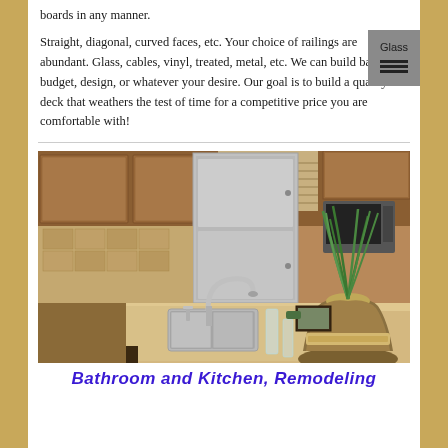boards in any manner.
Straight, diagonal, curved faces, etc. Your choice of railings are abundant. Glass, cables, vinyl, treated, metal, etc. We can build based on budget, design, or whatever your desire. Our goal is to build a quality deck that weathers the test of time for a competitive price you are comfortable with!
[Figure (photo): Interior kitchen photo showing stainless steel refrigerator and appliances, wooden cabinetry, a kitchen island with granite countertop, a decorative vase with green grass plant, and a gooseneck faucet with sink.]
Bathroom and Kitchen, Remodeling